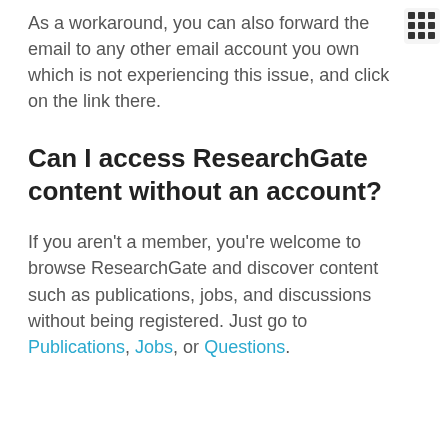As a workaround, you can also forward the email to any other email account you own which is not experiencing this issue, and click on the link there.
Can I access ResearchGate content without an account?
If you aren't a member, you're welcome to browse ResearchGate and discover content such as publications, jobs, and discussions without being registered. Just go to Publications, Jobs, or Questions.